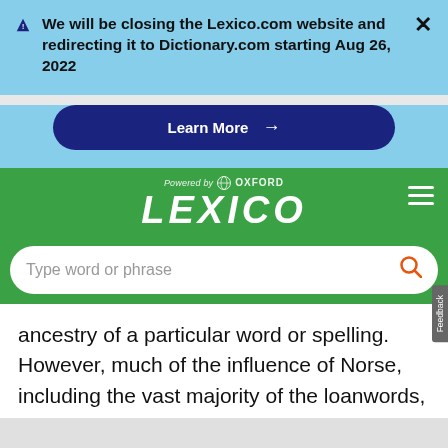[Figure (screenshot): Lexico.com website screenshot showing a closure announcement banner, the Lexico powered by Oxford header with search bar, and article text about Norse influence on English.]
We will be closing the Lexico.com website and redirecting it to Dictionary.com starting Aug 26, 2022
Learn More →
Powered by OXFORD LEXICO
Type word or phrase
ancestry of a particular word or spelling. However, much of the influence of Norse, including the vast majority of the loanwords, does not appear in written English until after the next great historical and cultural upheaval, the Norman Conquest.